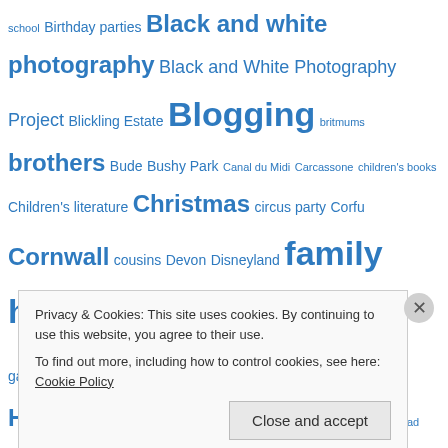school Birthday parties Black and white photography Black and White Photography Project Blickling Estate Blogging britmums brothers Bude Bushy Park Canal du Midi Carcassone children's books Children's literature Christmas circus party Corfu Cornwall cousins Devon Disneyland family holidays feminism France funny things kids say garden Great British Bake Off happiness Happiness project Home html Iceland information overload Isle of Wight Jason Wallace London London College of Printing Love the little things Magic moments Mindfulness Muddy puddles muffins Narbonne National Trust North Norfolk Parkrun party planning Pembrokeshire pirate party planning
Privacy & Cookies: This site uses cookies. By continuing to use this website, you agree to their use. To find out more, including how to control cookies, see here: Cookie Policy